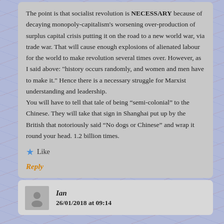The point is that socialist revolution is NECESSARY because of decaying monopoly-capitalism's worsening over-production of surplus capital crisis putting it on the road to a new world war, via trade war. That will cause enough explosions of alienated labour for the world to make revolution several times over. However, as I said above: "history occurs randomly, and women and men have to make it." Hence there is a necessary struggle for Marxist understanding and leadership.
You will have to tell that tale of being “semi-colonial” to the Chinese. They will take that sign in Shanghai put up by the British that notoriously said “No dogs or Chinese” and wrap it round your head. 1.2 billion times.
Like
Reply
Ian
26/01/2018 at 09:14